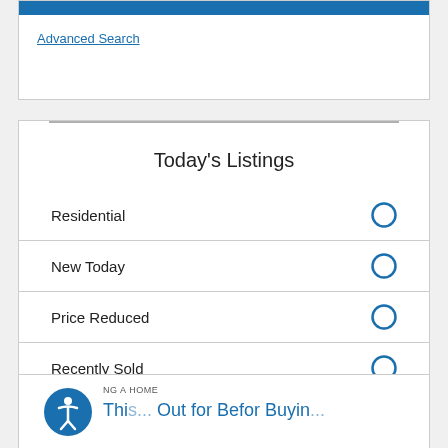Advanced Search
Today's Listings
Residential
New Today
Price Reduced
Recently Sold
NG A HOME
Thi... Out for Befor Buyin...